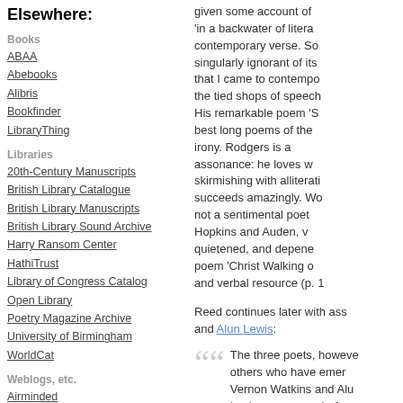Elsewhere:
Books
ABAA
Abebooks
Alibris
Bookfinder
LibraryThing
Libraries
20th-Century Manuscripts
British Library Catalogue
British Library Manuscripts
British Library Sound Archive
Harry Ransom Center
HathiTrust
Library of Congress Catalog
Open Library
Poetry Magazine Archive
University of Birmingham
WorldCat
Weblogs, etc.
Airminded
Alliance of Literary Societies
Archaeolibris
Arts & Letters Daily
BibliOdyssey
Bibliophemera
Bookninja
British Council Literature
Dumbfoundry
E-Verse Radio
given some account of ... 'in a backwater of litera... contemporary verse. So... singularly ignorant of its... that I came to contempo... the tied shops of speech... His remarkable poem 'S... best long poems of the... irony. Rodgers is a... assonance: he loves w... skirmishing with alliterati... succeeds amazingly. Wo... not a sentimental poet... Hopkins and Auden, v... quietened, and depene... poem 'Christ Walking o... and verbal resource (p. 1...
Reed continues later with ass... and Alun Lewis:
The three poets, howeve... others who have emer... Vernon Watkins and Alu... back some years before... 1937-42, and before 193... poetry is rarely very inte...